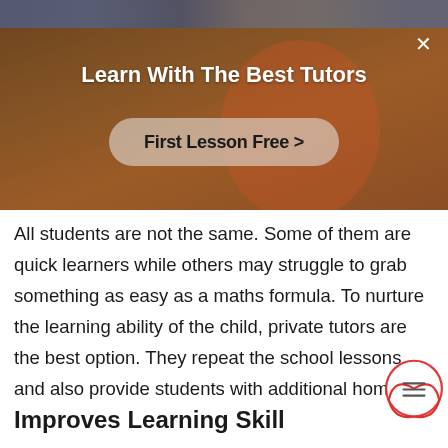[Figure (photo): Promotional banner with a blurred classroom/tutoring background photo. A close-up strip of students with HP laptop at top, and a person in red shirt in main banner area. Dark brown/warm overlay. Contains a title 'Learn With The Best Tutors' and a button 'First Lesson Free >'.]
All students are not the same. Some of them are quick learners while others may struggle to grab something as easy as a maths formula. To nurture the learning ability of the child, private tutors are the best option. They repeat the school lessons and also provide students with additional homew...
Improves Learning Skill